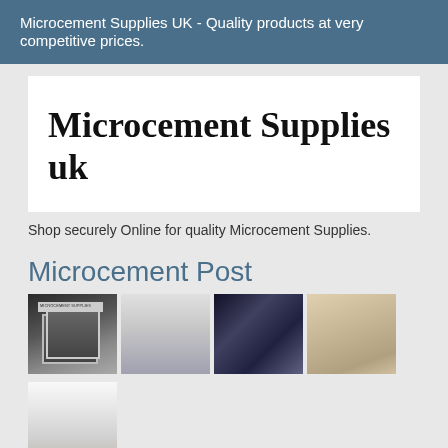Microcement Supplies UK - Quality products at very competitive prices.
Microcement Supplies uk
Shop securely Online for quality Microcement Supplies.
Microcement Post
[Figure (photo): Grid of 5 photos showing microcement products and applications: a black bucket with microcement product label, a modern bathroom with grey microcement walls, a dark metallic microcement floor, a contemporary room interior, and hands applying microcement to a surface.]
Microcement Products